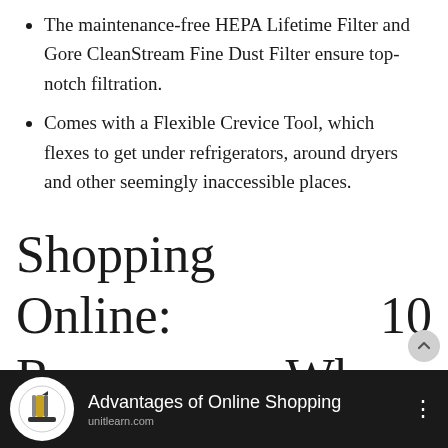The maintenance-free HEPA Lifetime Filter and Gore CleanStream Fine Dust Filter ensure top-notch filtration.
Comes with a Flexible Crevice Tool, which flexes to get under refrigerators, around dryers and other seemingly inaccessible places.
Shopping Online: 10 Reasons Why It's Better Than Going To The Mall.
[Figure (screenshot): Video thumbnail with pencil/graduation logo and text 'Advantages of Online Shopping' on dark background]